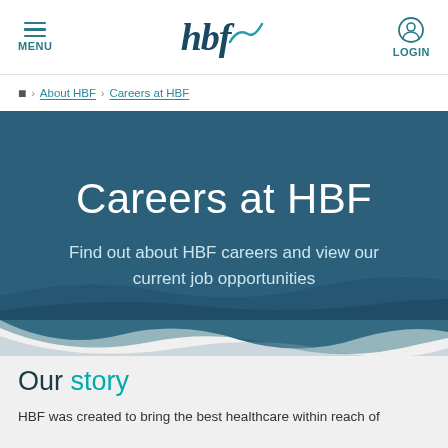MENU | hbf | LOGIN
Home > About HBF > Careers at HBF
Careers at HBF
Find out about HBF careers and view our current job opportunities
Our story
HBF was created to bring the best healthcare within reach of